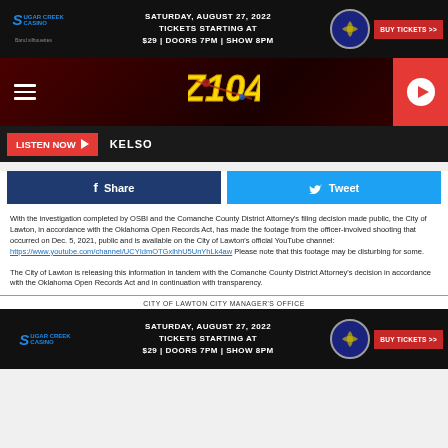[Figure (infographic): Sugar Creek Casino advertisement banner: Saturday, August 27, 2022, Tickets Starting At $29 | Doors 7PM | Show 8PM, Buy Tickets >> button, US eagle emblem]
[Figure (logo): Radio station navigation bar with hamburger menu, stylized logo in center, and red play button on right]
LISTEN NOW  KELSO
[Figure (other): Facebook Share and Twitter Tweet social sharing buttons]
With the investigation completed by OSBI and the Comanche County District Attorney's filing decision made public, the City of Lawton, in accordance with the Oklahoma Open Records Act, has made the footage from the officer-involved shooting that occurred on Dec. 5, 2021, public and is available on the City of Lawton's official YouTube channel: https://www.youtube.com/channel/UCYIdmOTGxihhU5UnYhLk4aw  Please note that this footage may be disturbing for some.
The City of Lawton is releasing this information in tandem with the Comanche County District Attorney's decision in accordance with the Oklahoma Open Records Act and in continuation with transparency.
CITY OF LAWTON CITY MANAGER'S OFFICE
[Figure (infographic): Sugar Creek Casino advertisement banner bottom: Saturday, August 27, 2022, Tickets Starting At $29 | Doors 7PM | Show 8PM, Buy Tickets >>]